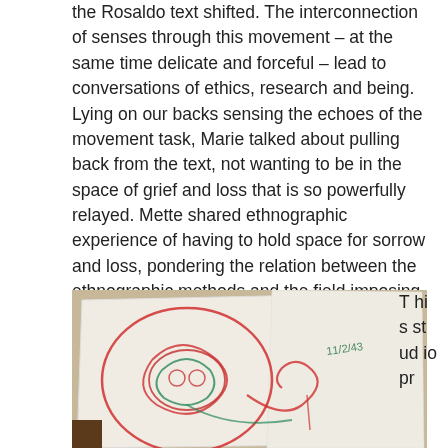the Rosaldo text shifted. The interconnection of senses through this movement – at the same time delicate and forceful – lead to conversations of ethics, research and being. Lying on our backs sensing the echoes of the movement task, Marie talked about pulling back from the text, not wanting to be in the space of grief and loss that is so powerfully relayed. Mette shared ethnographic experience of having to hold space for sorrow and loss, pondering the relation between the ethnographic methods and the field imposing itself on the ethnographer.
[Figure (photo): A photograph of drawings on paper sheets showing abstract swirling figures in red and green/teal crayon or marker. The drawings feature circular and curving forms, possibly figures or abstract shapes. Papers are laid on a dark surface.]
This studio pr